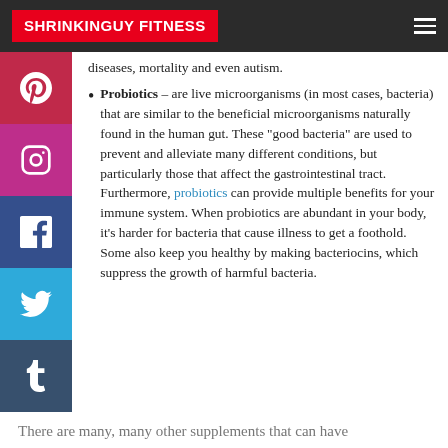SHRINKINGUY FITNESS
diseases, mortality and even autism.
Probiotics - are live microorganisms (in most cases, bacteria) that are similar to the beneficial microorganisms naturally found in the human gut. These “good bacteria” are used to prevent and alleviate many different conditions, but particularly those that affect the gastrointestinal tract. Furthermore, probiotics can provide multiple benefits for your immune system. When probiotics are abundant in your body, it’s harder for bacteria that cause illness to get a foothold. Some also keep you healthy by making bacteriocins, which suppress the growth of harmful bacteria.
There are many, many other supplements that can have